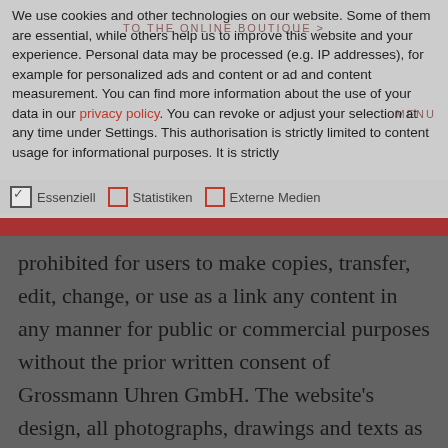We use cookies and other technologies on our website. Some of them are essential, while others help us to improve this website and your experience. Personal data may be processed (e.g. IP addresses), for example for personalized ads and content or ad and content measurement. You can find more information about the use of your data in our privacy policy. You can revoke or adjust your selection at any time under Settings. This authorisation is strictly limited to content usage for informational purposes. It is strictly
prohibited for users to make copies, transfer, edit, change, or use as a link any content in any manner for public or commercial purposes without the prior written consent of Grossmann Uhren GmbH. The website's design, all photographs, drawings and texts as well as all other information, and the selection and